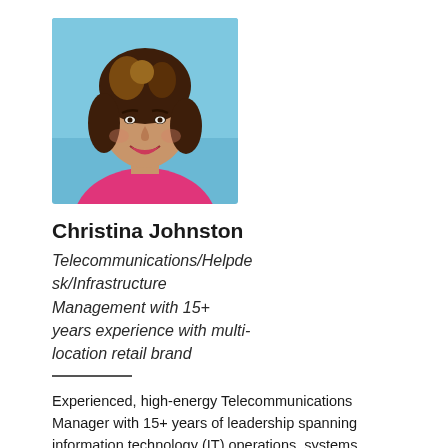[Figure (photo): Professional headshot of Christina Johnston, a woman with brown highlighted hair, smiling, wearing a pink/magenta top, against a light blue background.]
Christina Johnston
Telecommunications/Helpdesk/Infrastructure Management with 15+ years experience with multi-location retail brand
Experienced, high-energy Telecommunications Manager with 15+ years of leadership spanning information technology (IT) operations, systems administration, user support, call center management, and staff supervision.